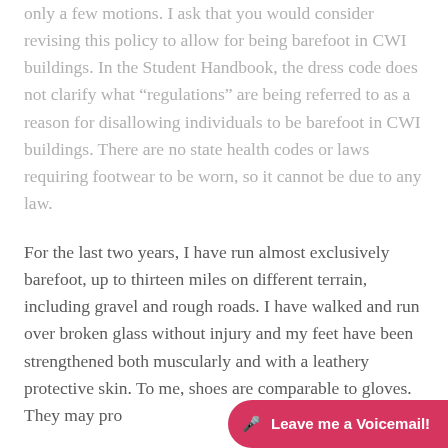only a few motions. I ask that you would consider revising this policy to allow for being barefoot in CWI buildings. In the Student Handbook, the dress code does not clarify what “regulations” are being referred to as a reason for disallowing individuals to be barefoot in CWI buildings. There are no state health codes or laws requiring footwear to be worn, so it cannot be due to any law.
For the last two years, I have run almost exclusively barefoot, up to thirteen miles on different terrain, including gravel and rough roads. I have walked and run over broken glass without injury and my feet have been strengthened both muscularly and with a leathery protective skin. To me, shoes are comparable to gloves. They may pro...
[Figure (other): Pink/red rounded button overlay at bottom right reading 'Leave me a Voicemail!' with a microphone icon]